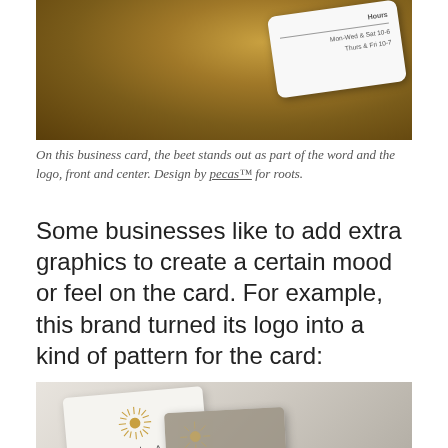[Figure (photo): A white business card with rounded corners showing hours information (Mon-Wed & Sat 10-6, Thurs & Fri 10-7), placed on a burlap/textured brown fabric background.]
On this business card, the beet stands out as part of the word and the logo, front and center. Design by pecas™ for roots.
Some businesses like to add extra graphics to create a certain mood or feel on the card. For example, this brand turned its logo into a kind of pattern for the card:
[Figure (photo): Two business cards for 'ZILA' brand featuring a gold sun/sunburst logo. One white card in the foreground and one gray card in the background showing a repeated sunburst pattern. Text reads ZILA and CRISTINA S.]